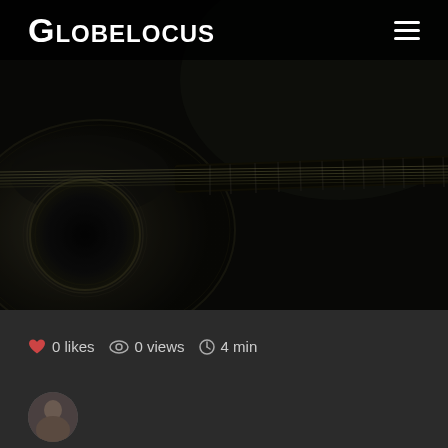Globelocus
[Figure (photo): Dark photograph of an acoustic guitar, showing the body, sound hole, and fretboard/neck extending to the right against a very dark background]
0 likes   0 views   4 min